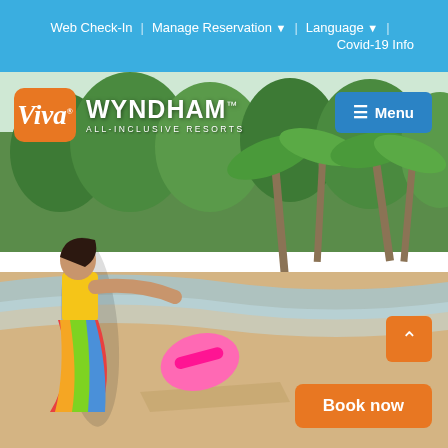Web Check-In | Manage Reservation ▾ | Language ▾ | Covid-19 Info
[Figure (photo): Woman in colorful outfit running on a tropical beach holding a pink hat, with palm trees in the background. Hero image for Viva Wyndham All-Inclusive Resorts website.]
Viva WYNDHAM™ ALL-INCLUSIVE RESORTS
≡ Menu
^ (scroll to top)
Book now